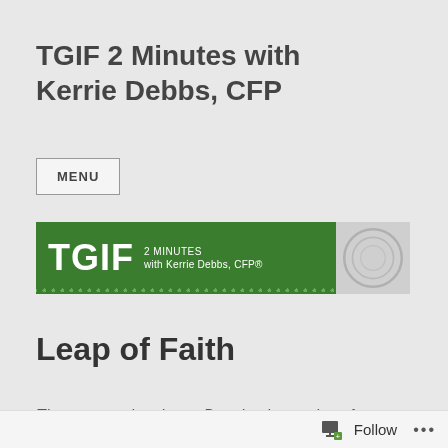TGIF 2 Minutes with Kerrie Debbs, CFP
MENU
[Figure (logo): TGIF 2 Minutes with Kerrie Debbs, CFP® banner logo on green background with decorative dots and gray arc on right side]
Leap of Faith
These are trying times. Despite the strains of
Follow ...